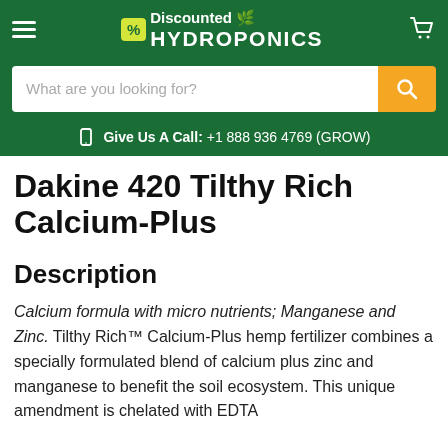Discounted Hydroponics — Give Us A Call: +1 888 936 4769 (GROW)
Dakine 420 Tilthy Rich Calcium-Plus
Description
Calcium formula with micro nutrients; Manganese and Zinc. Tilthy Rich™ Calcium-Plus hemp fertilizer combines a specially formulated blend of calcium plus zinc and manganese to benefit the soil ecosystem. This unique amendment is chelated with EDTA